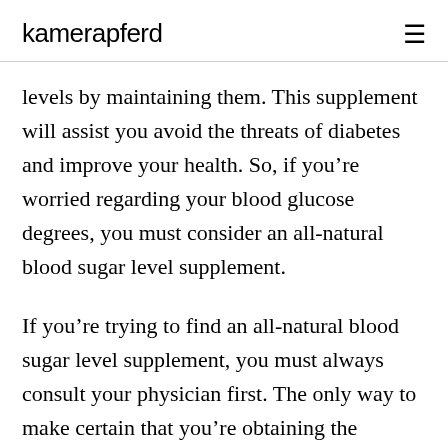kamerapferd
levels by maintaining them. This supplement will assist you avoid the threats of diabetes and improve your health. So, if you’re worried regarding your blood glucose degrees, you must consider an all-natural blood sugar level supplement.
If you’re trying to find an all-natural blood sugar level supplement, you must always consult your physician first. The only way to make certain that you’re obtaining the appropriate therapy is to stay clear of